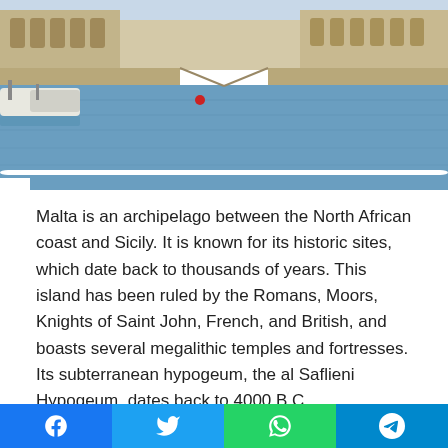[Figure (photo): Aerial or ground-level view of a harbor in Malta with boats moored along quays, blue water, and historic stone buildings in the background.]
Malta is an archipelago between the North African coast and Sicily. It is known for its historic sites, which date back to thousands of years. This island has been ruled by the Romans, Moors, Knights of Saint John, French, and British, and boasts several megalithic temples and fortresses. Its subterranean hypogeum, the al Saflieni Hypogeum, dates back to 4000 B.C.
Stunning natural attraction
In the southwest corner of Malta, Dwejra is one of the most stunning natural attractions in the country. This island...